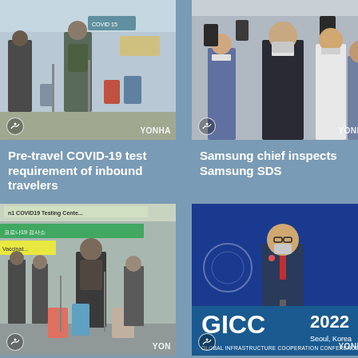[Figure (photo): People with luggage in airport, COVID-19 signs visible, pre-travel testing queue. Yonhap watermark.]
[Figure (photo): Crowd of people wearing masks, some holding phones up to photograph. Yonhap watermark.]
Pre-travel COVID-19 test requirement of inbound travelers
Samsung chief inspects Samsung SDS
[Figure (photo): COVID19 Testing Centre sign, people with luggage queuing. Yonhap watermark.]
[Figure (photo): Man in suit and mask at podium, GICC 2022 Seoul Korea Global Infrastructure Cooperation Conference banner. Yonhap watermark.]